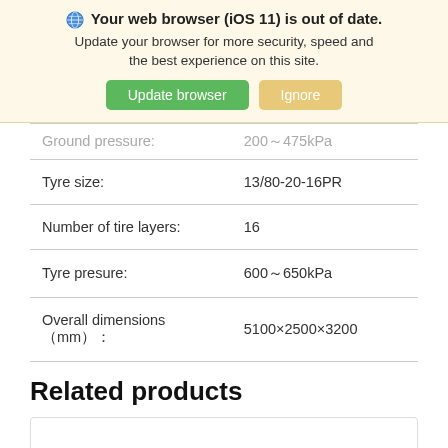🌐 Your web browser (iOS 11) is out of date. Update your browser for more security, speed and the best experience on this site. [Update browser] [Ignore]
| Ground pressure: | 200～475kPa |
| Tyre size: | 13/80-20-16PR |
| Number of tire layers: | 16 |
| Tyre presure: | 600～650kPa |
| Overall dimensions（mm）： | 5100×2500×3200 |
Related products